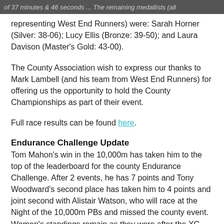of 37 minutes & 46 seconds ... The remaining medallists (all representing West End Runners) were: Sarah Horner (Silver: 38-06); Lucy Ellis (Bronze: 39-50); and Laura Davison (Master's Gold: 43-00).
The County Association wish to express our thanks to Mark Lambell (and his team from West End Runners) for offering us the opportunity to hold the County Championships as part of their event.
Full race results can be found here.
Endurance Challenge Update
Tom Mahon's win in the 10,000m has taken him to the top of the leaderboard for the county Endurance Challenge. After 2 events, he has 7 points and Tony Woodward's second place has taken him to 4 points and joint second with Alistair Watson, who will race at the Night of the 10,000m PBs and missed the county event. Women's standings remain as they were after the XC Champs, with a 1,2,3 of Justine Anthony, Emily Smith and Emma Richards.